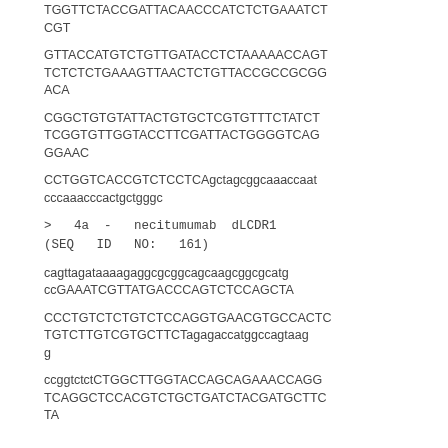TGGTTCTACCGATTACAACCCATCTCTGAAATCTCGT
GTTACCATGTCTGTTGATACCTCTAAAAACCAGTTCTCTCTGAAAGTTAACTCTGTTACCGCCGCGGACA
CGGCTGTGTATTACTGTGCTCGTGTTTCTATCTTCGGTGTTGGTACCTTCGATTACTGGGGTCAGGGAAC
CCTGGTCACCGTCTCCTCAgctagcggcaaaccaatcccaaacccactgctgggc
>  4a  -  necitumumab  dLCDR1  (SEQ  ID  NO:  161)
cagttagataaaagaggcgcggcagcaagcggcgcgcatgccGAAATCGTTATGACCCAGTCTCCAGCTA
CCCTGTCTCTGTCTCCAGGTGAACGTGCCACTCTGTCTTGTCGTGCTTCTagagaccatggccagtaagg
ccggtctctCTGGCTTGGTACCAGCAGAAACCAGGTCAGGCTCCACGTCTGCTGATCTACGATGCTTCTA